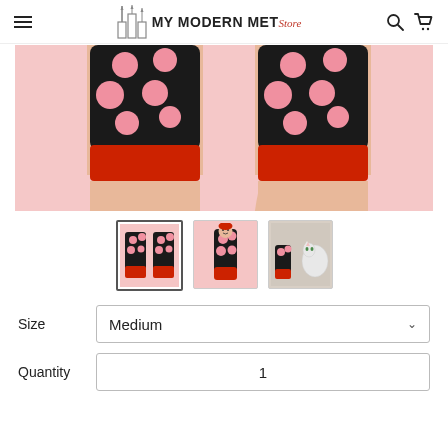MY MODERN MET Store
[Figure (photo): Close-up photo of two legs wearing black socks with large pink polka dots and red ribbed cuffs, on a pink background.]
[Figure (photo): Thumbnail 1: Two legs with polka dot socks with red cuffs, selected/active state.]
[Figure (photo): Thumbnail 2: Single sock displayed flat on pink background showing full sock with red cuff and polka dots.]
[Figure (photo): Thumbnail 3: Socks worn near a white cat, showing top view.]
Size
Medium
Quantity
1